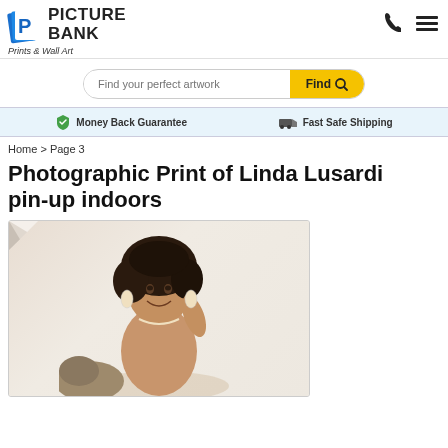[Figure (logo): Picture Bank logo with blue P icon and text 'PICTURE BANK', tagline 'Prints & Wall Art']
[Figure (infographic): Search bar with text 'Find your perfect artwork' and yellow 'Find' button with magnifying glass icon]
Money Back Guarantee   Fast Safe Shipping
Home > Page 3
Photographic Print of Linda Lusardi pin-up indoors
[Figure (photo): Photo of Linda Lusardi, a woman with curly dark hair, smiling, in a pin-up style indoor setting with props]